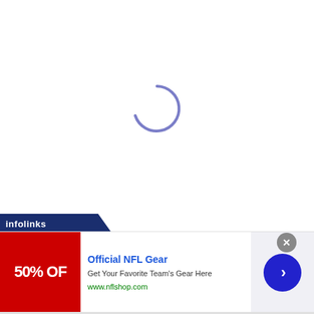[Figure (other): Loading spinner arc in muted purple/periwinkle color, three-quarter circle arc indicating page loading state, centered in the upper white area of the page]
[Figure (infographic): Infolinks advertisement banner. Contains: dark navy 'infolinks' logo bar at top-left, a red ad tile showing '50% OFF', advertisement text 'Official NFL Gear - Get Your Favorite Team's Gear Here - www.nflshop.com', a gray close X button, a blue forward arrow circle button, and a small ad indicator arrow icon]
Official NFL Gear
Get Your Favorite Team's Gear Here
www.nflshop.com